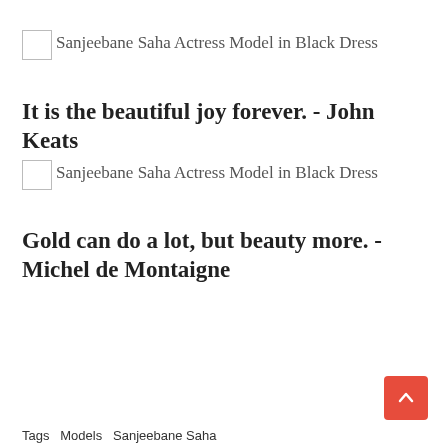Sanjeebane Saha Actress Model in Black Dress
It is the beautiful joy forever. - John Keats
Sanjeebane Saha Actress Model in Black Dress
Gold can do a lot, but beauty more. - Michel de Montaigne
Tags  Models  Sanjeebane Saha